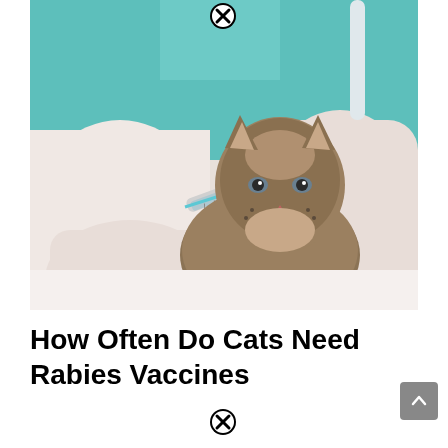[Figure (photo): A veterinarian in gloves and teal scrubs holding a small tabby kitten while administering an injection with a syringe. The kitten is on a white examination table.]
How Often Do Cats Need Rabies Vaccines